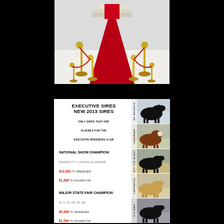[Figure (illustration): Red carpet with golden stanchion rope barriers leading up steps, white cloudy background]
EXECUTIVE SIRES NEW 2013 SIRES
ONLY SIRES THAT ARE ELIGIBLE FOR THE EXECUTIVE BREEDERS CLUB
NATIONAL SHOW CHAMPION:
KANSAS CITY, LOUISVILLE, DENVER
$10,000 TO BREEDER
$1,500 TO EXHIBITOR
MAJOR STATE FAIR CHAMPION:
IA, IL, IN, OH, WI, MO
$5,000 TO BREEDER
$1,500 TO EXHIBITOR
OTHER STATE FAIR CHAMPION:
$1,500 TO BREEDER
$1,000 TO EXHIBITOR
[Figure (photo): 5 cattle photos on the right side with vertical labels: No Worries, Landmark, Off The Blast, Hardwood, Old Man]